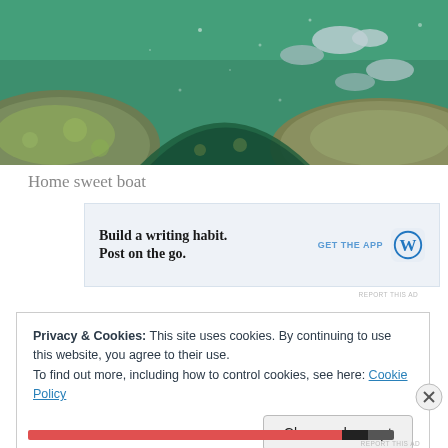[Figure (photo): Underwater photo showing rocks covered in algae/coral with fish swimming above in greenish-blue water]
Home sweet boat
[Figure (screenshot): Advertisement: Build a writing habit. Post on the go. GET THE APP [WordPress logo]]
REPORT THIS AD
Privacy & Cookies: This site uses cookies. By continuing to use this website, you agree to their use.
To find out more, including how to control cookies, see here: Cookie Policy
Close and accept